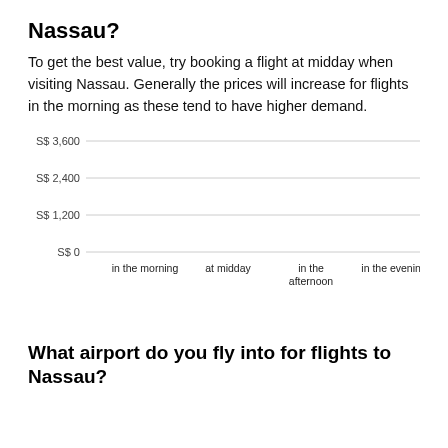Nassau?
To get the best value, try booking a flight at midday when visiting Nassau. Generally the prices will increase for flights in the morning as these tend to have higher demand.
[Figure (bar-chart): ]
What airport do you fly into for flights to Nassau?